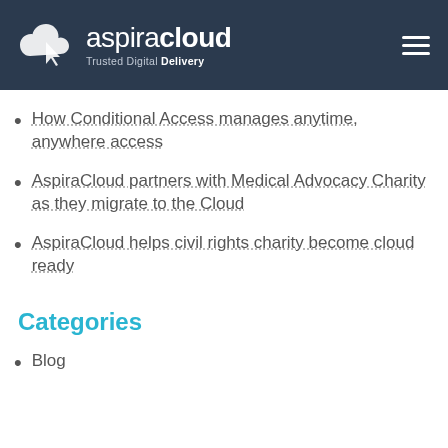[Figure (logo): AspiraCloud logo with cloud icon and tagline 'Trusted Digital Delivery' on dark navy header bar]
How Conditional Access manages anytime, anywhere access
AspiraCloud partners with Medical Advocacy Charity as they migrate to the Cloud
AspiraCloud helps civil rights charity become cloud ready
Categories
Blog